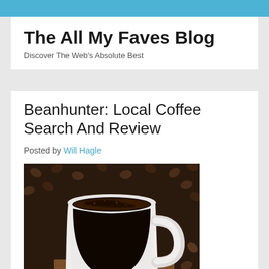The All My Faves Blog — Discover The Web's Absolute Best
Beanhunter: Local Coffee Search And Review
Posted by Will Hagle
[Figure (photo): A white ceramic mug filled with black coffee, surrounded by coffee beans on a wooden surface. A small heart-shaped icon appears in the bottom right corner.]